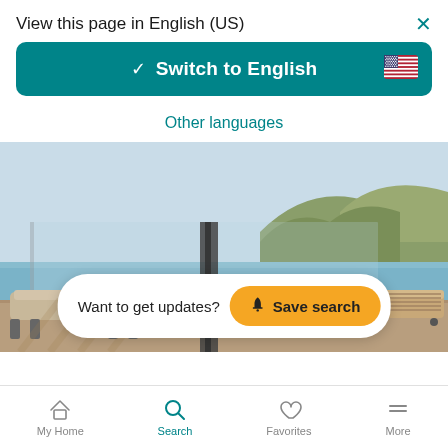View this page in English (US)
Switch to English
Other languages
[Figure (photo): Luxury poolside terrace with lounge chairs and a hillside/water view in background]
Want to get updates? Save search
My Home  Search  Favorites  More